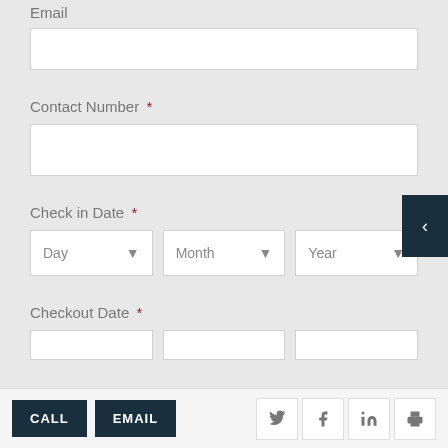Email
[Figure (screenshot): Empty text input field for Email]
Contact Number *
[Figure (screenshot): Empty text input field for Contact Number]
Check in Date *
[Figure (screenshot): Three dropdown selectors: Day, Month, Year]
Checkout Date *
[Figure (screenshot): Three partially visible dropdown selectors for Checkout Date]
[Figure (screenshot): Dark sidebar toggle button with left arrow]
CALL  EMAIL  [Twitter] [Facebook] [LinkedIn] [Print]